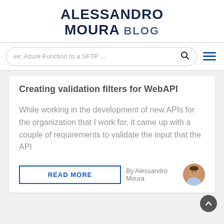ALESSANDRO MOURA BLOG
[Figure (screenshot): Search bar with placeholder text 'ex: Azure Function to a SFTP ...' and search icon, plus hamburger menu icon]
Creating validation filters for WebAPI
While working in the development of new APIs for the organization that I work for, it came up with a couple of requirements to validate the input that the API
READ MORE
By Alessandro Moura